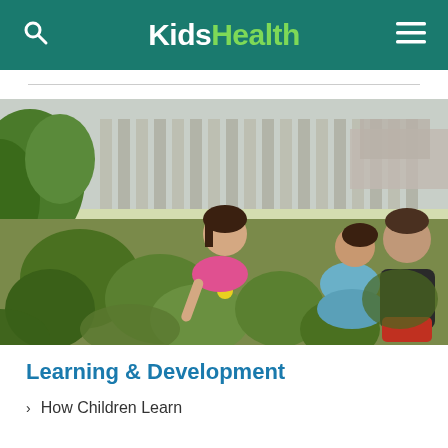KidsHealth
[Figure (photo): Three children playing in a garden with green leafy plants. One girl in pink bends down to pick something from the ground, another girl in a blue floral dress crouches nearby, and a boy in a black t-shirt stands watching on the right.]
Learning & Development
How Children Learn